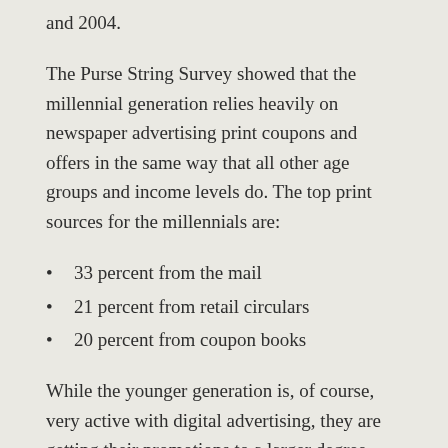and 2004.
The Purse String Survey showed that the millennial generation relies heavily on newspaper advertising print coupons and offers in the same way that all other age groups and income levels do. The top print sources for the millennials are:
33 percent from the mail
21 percent from retail circulars
20 percent from coupon books
While the younger generation is, of course, very active with digital advertising, they are getting their promotions to a larger degree from the newspapers than the rest of the